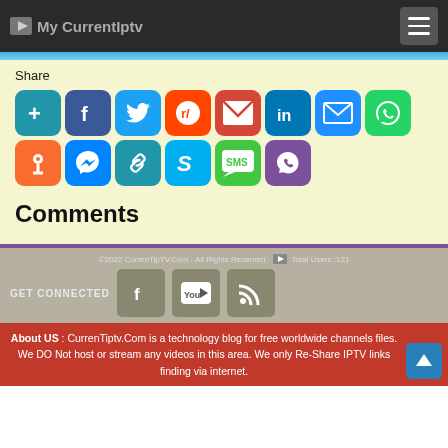My CurrentIptv
Share
[Figure (screenshot): Social share buttons: AddThis, Facebook, Twitter, Reddit, Gmail, LinkedIn, Email, WhatsApp, Instapaper, Messenger, Copy Link, Skype, SMS, Viber]
Comments
©2022 CurrenTipTV.Com - All Rights Reserved. Total Users :121 GET CONNECTED
About US : CurrenTiptv.Com is a technology blog for free worldwide channels files. We DO Not host or stream any videos in this area. We only Re-Share IPTV links finding via internet.